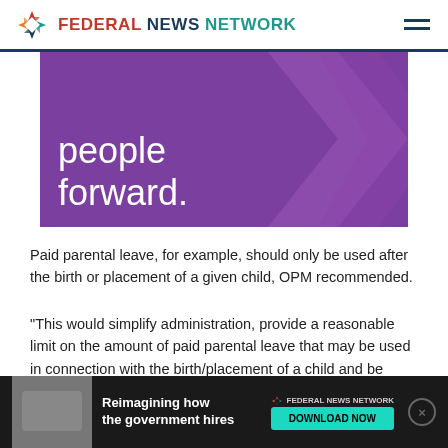FEDERAL NEWS NETWORK
[Figure (illustration): Purple advertisement banner with text 'people forward.' and decorative chevron shapes]
Paid parental leave, for example, should only be used after the birth or placement of a given child, OPM recommended.
“This would simplify administration, provide a reasonable limit on the amount of paid parental leave that may be used in connection with the birth/placement of a child and be consistent with the objective of allowing parents to bond with a new child,” the proposal reads.
OPM also proposes limiting the use of paid parental leave that may be used in connection with a given birth/placement. is light
[Figure (illustration): Bottom advertisement banner: Reimagining how the government hires — Federal News Network, Download Now button]